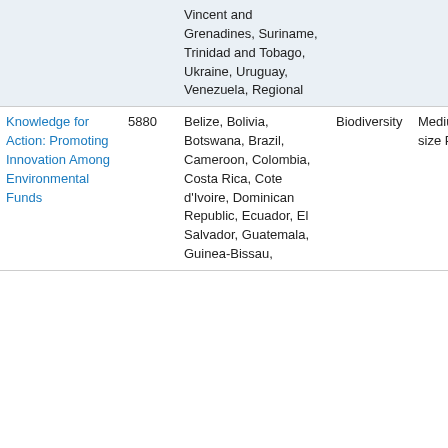| Project | ID | Countries | Focal Area | Project Size | Agency |
| --- | --- | --- | --- | --- | --- |
|  |  | Vincent and Grenadines, Suriname, Trinidad and Tobago, Ukraine, Uruguay, Venezuela, Regional |  |  |  |
| Knowledge for Action: Promoting Innovation Among Environmental Funds | 5880 | Belize, Bolivia, Botswana, Brazil, Cameroon, Colombia, Costa Rica, Cote d'Ivoire, Dominican Republic, Ecuador, El Salvador, Guatemala, Guinea-Bissau, | Biodiversity | Medium-size Project | United Nations Environment Program |